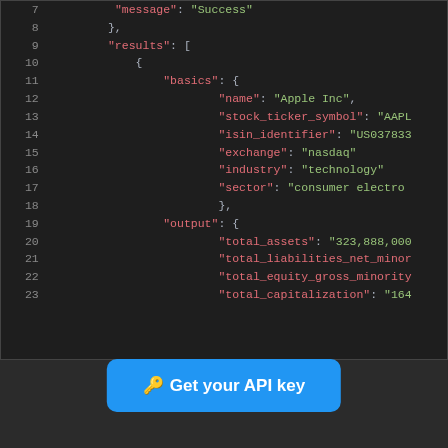[Figure (screenshot): Code editor screenshot showing JSON API response with line numbers 7-23, containing results array with basics object (name: Apple Inc, stock_ticker_symbol: AAPL, isin_identifier: US037833, exchange: nasdaq, industry: technology, sector: consumer electronics) and output object (total_assets: 323,888,000, total_liabilities_net_minor, total_equity_gross_minority, total_capitalization: 164)]
🔑 Get your API key